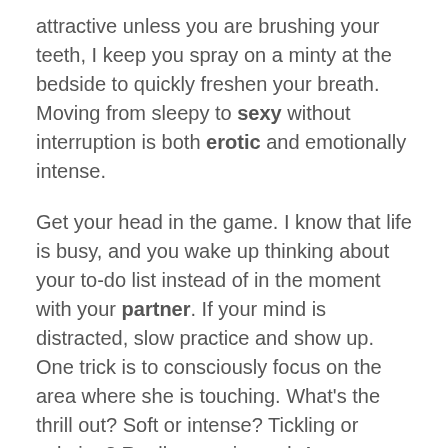attractive unless you are brushing your teeth, I keep you spray on a minty at the bedside to quickly freshen your breath. Moving from sleepy to sexy without interruption is both erotic and emotionally intense.
Get your head in the game. I know that life is busy, and you wake up thinking about your to-do list instead of in the moment with your partner. If your mind is distracted, slow practice and show up. One trick is to consciously focus on the area where she is touching. What's the thrill out? Soft or intense? Tickling or calming? Really experienced. As a thought pulls you away, gently but firmly bring your attention back to what is happening here and now.